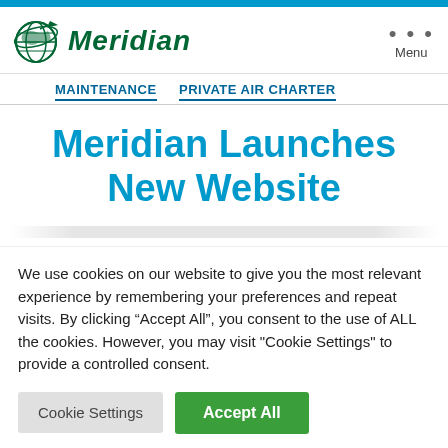[Figure (logo): Meridian company logo with globe and airplane graphic, green italic bold text 'Meridian']
Menu
MAINTENANCE  PRIVATE AIR CHARTER
Meridian Launches New Website
We use cookies on our website to give you the most relevant experience by remembering your preferences and repeat visits. By clicking “Accept All”, you consent to the use of ALL the cookies. However, you may visit "Cookie Settings" to provide a controlled consent.
Cookie Settings  Accept All